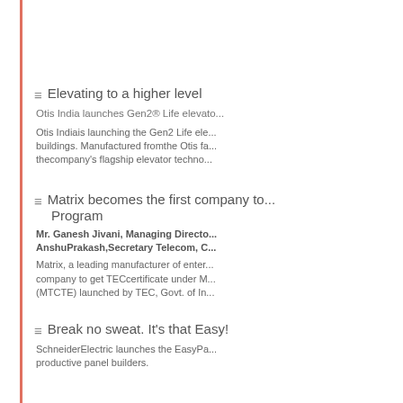Elevating to a higher level
Otis India launches Gen2® Life elevato...
Otis Indiais launching the Gen2 Life ele... buildings. Manufactured fromthe Otis fa... thecompany's flagship elevator techno...
Matrix becomes the first company to... Program
Mr. Ganesh Jivani, Managing Directo... AnshuPrakash,Secretary Telecom, C...
Matrix, a leading manufacturer of enter... company to get TECcertificate under M... (MTCTE) launched by TEC, Govt. of In...
Break no sweat. It's that Easy!
SchneiderElectric launches the EasyPa... productive panel builders.
Panelbuilders can deliver medium-vol...